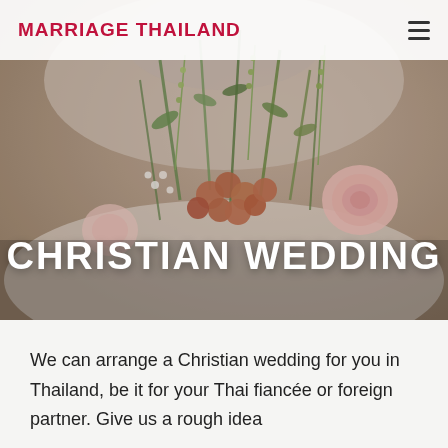[Figure (photo): A person in a white wedding dress holding a bouquet of flowers including pink roses, greenery, and round orange-red berries, used as a hero banner image for a Christian wedding services website in Thailand.]
MARRIAGE THAILAND
CHRISTIAN WEDDING
We can arrange a Christian wedding for you in Thailand, be it for your Thai fiancée or foreign partner. Give us a rough idea